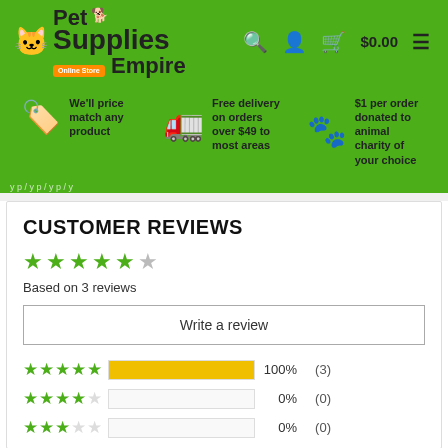[Figure (logo): Pet Supplies Empire logo with green background, cat and dog silhouette icons]
We'll price match any product
Free delivery on orders over $49 to most areas
$1 per order donated to animal charity of your choice
CUSTOMER REVIEWS
Based on 3 reviews
Write a review
100%  (3)
0%  (0)
0%  (0)